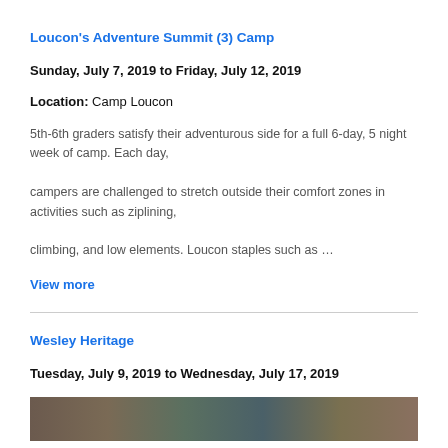Loucon's Adventure Summit (3) Camp
Sunday, July 7, 2019 to Friday, July 12, 2019
Location: Camp Loucon
5th-6th graders satisfy their adventurous side for a full 6-day, 5 night week of camp. Each day, campers are challenged to stretch outside their comfort zones in activities such as ziplining, climbing, and low elements. Loucon staples such as …
View more
Wesley Heritage
Tuesday, July 9, 2019 to Wednesday, July 17, 2019
[Figure (photo): Photo strip showing camp images]